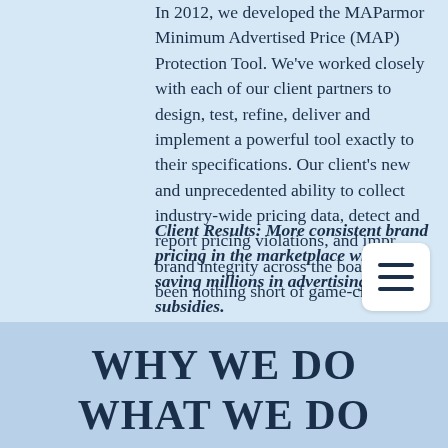In 2012, we developed the MAParmor Minimum Advertised Price (MAP) Protection Tool. We've worked closely with each of our client partners to design, test, refine, deliver and implement a powerful tool exactly to their specifications. Our client's new and unprecedented ability to collect industry-wide pricing data, detect and report pricing violations, and improve brand integrity across the board has been nothing short of game-changing.
Client Results: More consistent brand pricing in the marketplace while saving millions in advertising subsidies.
WHY WE DO WHAT WE DO